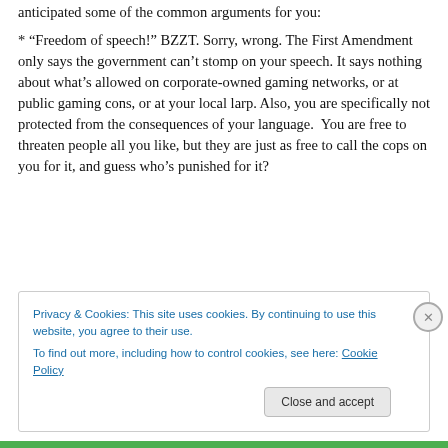anticipated some of the common arguments for you:
* “Freedom of speech!” BZZT. Sorry, wrong. The First Amendment only says the government can’t stomp on your speech. It says nothing about what’s allowed on corporate-owned gaming networks, or at public gaming cons, or at your local larp. Also, you are specifically not protected from the consequences of your language. You are free to threaten people all you like, but they are just as free to call the cops on you for it, and guess who’s punished for it?
Privacy & Cookies: This site uses cookies. By continuing to use this website, you agree to their use.
To find out more, including how to control cookies, see here: Cookie Policy